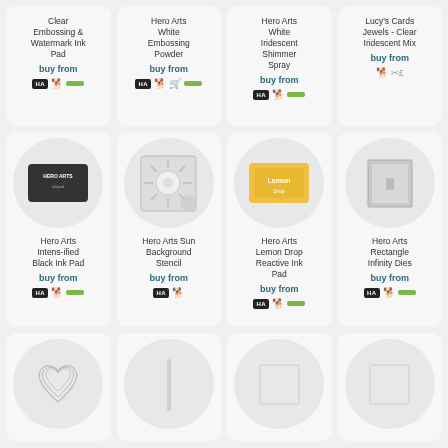[Figure (infographic): Product grid showing crafting supplies with buy from links. Row 1: Clear Embossing & Watermark Ink Pad, Hero Arts White Embossing Powder, Hero Arts White Iridescent Shimmer Spray, Lucy's Cards Jewels - Clear Iridescent Mix. Row 2: Hero Arts Intens-ified Black Ink Pad, Hero Arts Sun Background Stencil, Hero Arts Lemon Drop Reactive Ink Pad, Hero Arts Rectangle Infinity Dies. Row 3 (partial): 4 more products partially visible.]